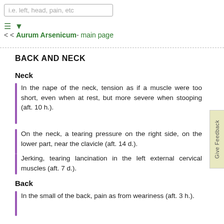i.e. left, head, pain, etc
< < Aurum Arsenicum- main page
BACK AND NECK
Neck
In the nape of the neck, tension as if a muscle were too short, even when at rest, but more severe when stooping (aft. 10 h.).
On the neck, a tearing pressure on the right side, on the lower part, near the clavicle (aft. 14 d.).
Jerking, tearing lancination in the left external cervical muscles (aft. 7 d.).
Back
In the small of the back, pain as from weariness (aft. 3 h.).